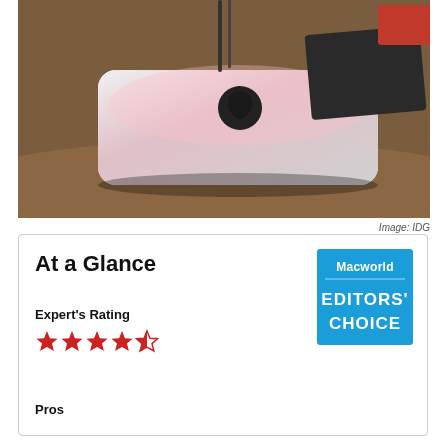[Figure (photo): Apple Mac mini device on a wooden desk, silver aluminum enclosure with Apple logo on top, with various accessories visible in background]
Image: IDG
At a Glance
Expert's Rating
[Figure (other): 4.5 out of 5 red stars rating]
[Figure (logo): Macworld Editors' Choice badge - blue banner with white text]
Pros